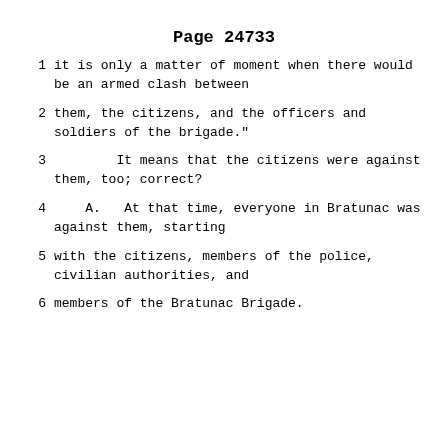Page 24733
1      it is only a matter of moment when there would be an armed clash between
2      them, the citizens, and the officers and soldiers of the brigade."
3               It means that the citizens were against them, too; correct?
4        A.   At that time, everyone in Bratunac was against them, starting
5      with the citizens, members of the police, civilian authorities, and
6      members of the Bratunac Brigade.